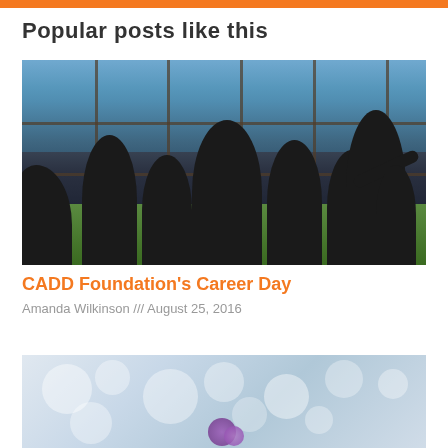Popular posts like this
[Figure (photo): Group of students silhouetted against large windows looking out over a landscape, with an instructor pointing outside]
CADD Foundation's Career Day
Amanda Wilkinson /// August 25, 2016
[Figure (photo): Bokeh background with white/silver light circles, appears to show a purple flower or object in lower right]